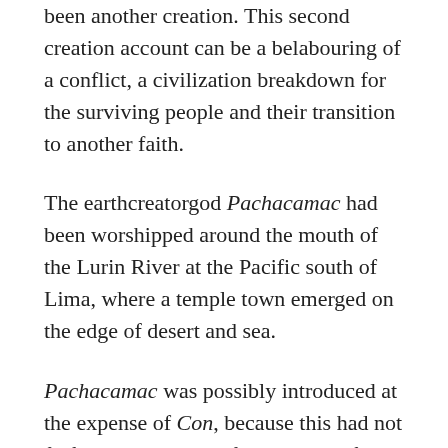been another creation. This second creation account can be a belabouring of a conflict, a civilization breakdown for the surviving people and their transition to another faith.
The earthcreatorgod Pachacamac had been worshipped around the mouth of the Lurin River at the Pacific south of Lima, where a temple town emerged on the edge of desert and sea.
Pachacamac was possibly introduced at the expense of Con, because this had not fulfilled mens need of and prayers for rain. The temples still exist as ruins in the desert, and as the god the place is called Pachacamac.
When the Incas in the 15th century conquered